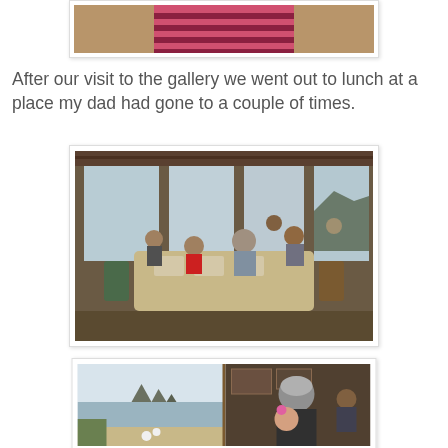[Figure (photo): Partial view of a person wearing a pink striped shirt or sweater, cropped at the top of the page.]
After our visit to the gallery we went out to lunch at a place my dad had gone to a couple of times.
[Figure (photo): A group of people, including children, seated around tables in a restaurant with large windows overlooking what appears to be a coastal scene with a rock formation visible.]
[Figure (photo): A split view showing a coastal beach scene with haystack rock on the left, and on the right an older woman with gray hair holding a small child in a restaurant setting.]